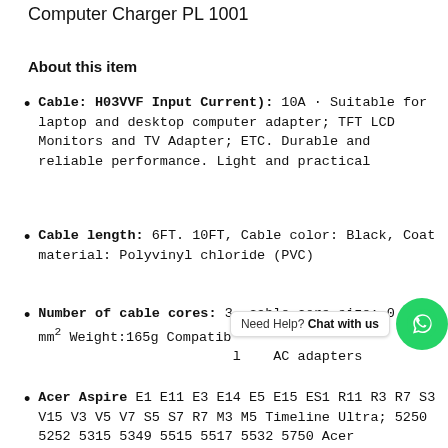Computer Charger PL 1001
About this item
Cable: H03VVF Input Current): 10A · Suitable for laptop and desktop computer adapter; TFT LCD Monitors and TV Adapter; ETC. Durable and reliable performance. Light and practical
Cable length: 6FT. 10FT, Cable color: Black, Coat material: Polyvinyl chloride (PVC)
Number of cable cores: 3, cable core size: 0.75 mm² Weight:165g Compatible … AC adapters
Acer Aspire E1 E11 E3 E14 E5 E15 ES1 R11 R3 R7 S3 V15 V3 V5 V7 S5 S7 R7 M3 M5 Timeline Ultra; 5250 5252 5315 5349 5515 5517 5532 5750 Acer…